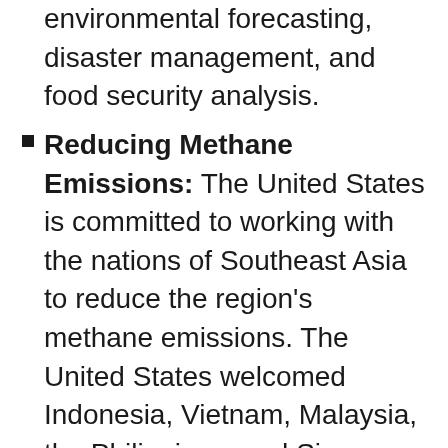environmental forecasting, disaster management, and food security analysis.
Reducing Methane Emissions: The United States is committed to working with the nations of Southeast Asia to reduce the region’s methane emissions. The United States welcomed Indonesia, Vietnam, Malaysia, the Philippines, and Singapore joining the Global Methane Pledge at COP-26, and we are accelerating technical assistance, financial resources, and project pipeline development for methane mitigation in Global Methane Pledge countries, including through the EPA, USTDA, DFC, and EXIM, as well as the newly-created